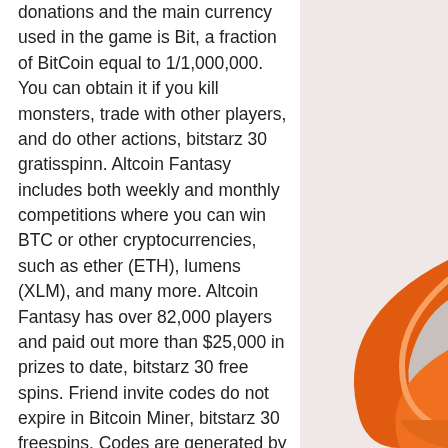donations and the main currency used in the game is Bit, a fraction of BitCoin equal to 1/1,000,000. You can obtain it if you kill monsters, trade with other players, and do other actions, bitstarz 30 gratisspinn. Altcoin Fantasy includes both weekly and monthly competitions where you can win BTC or other cryptocurrencies, such as ether (ETH), lumens (XLM), and many more. Altcoin Fantasy has over 82,000 players and paid out more than $25,000 in prizes to date, bitstarz 30 free spins. Friend invite codes do not expire in Bitcoin Miner, bitstarz 30 freespins. Codes are generated by players in Bitcoin Miner once they unlock the Invite Friends feature. At the same time miners add security to the network by expending expensive energy that chains each new block to the preceding block via a well established mathematical algorithm, bitstarz 30 freespins. Each miner is, therefore, a
[Figure (illustration): Orange curved decorative shapes on a light pinkish-gray background, visible on the right side of the page.]